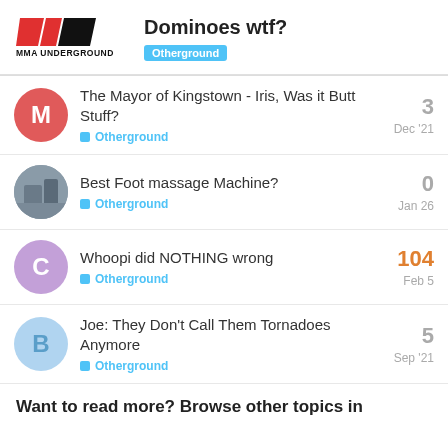Dominoes wtf? — Otherground
The Mayor of Kingstown - Iris, Was it Butt Stuff? | Otherground | 3 replies | Dec '21
Best Foot massage Machine? | Otherground | 0 replies | Jan 26
Whoopi did NOTHING wrong | Otherground | 104 replies | Feb 5
Joe: They Don't Call Them Tornadoes Anymore | Otherground | 5 replies | Sep '21
Want to read more? Browse other topics in